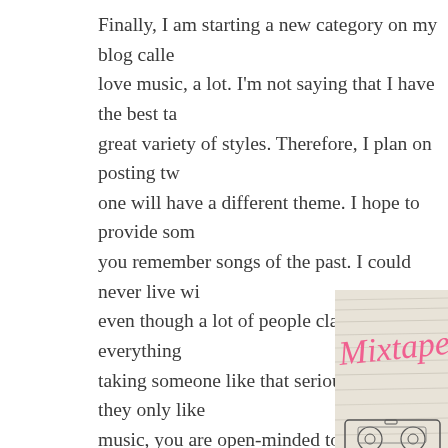Finally, I am starting a new category on my blog calle love music, a lot. I'm not saying that I have the best ta great variety of styles. Therefore, I plan on posting tw one will have a different theme. I hope to provide som you remember songs of the past. I could never live wi even though a lot of people claim that it is everything taking someone like that seriously, when they only like music, you are open-minded toward everything that i give everything a chance. I love music, I love lists and combination of it. Each list will have 30 tracks, althoug more that I would like to add, but I have to set myself would like to add songs, share memories or if you rea
[Figure (illustration): A mixtape/cassette tape illustration with 'Mixtape #' written in pink handwritten cursive font on a light wooden/textured background, with a cassette tape drawing partially visible at the bottom.]